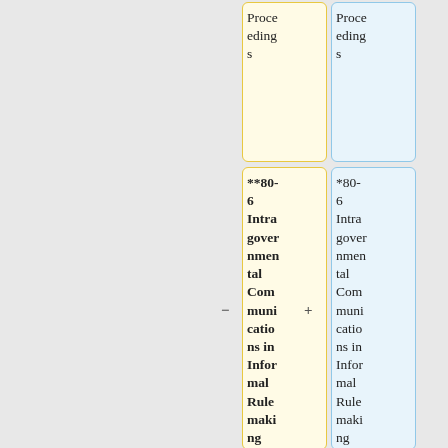| Proceedings | Proceedings |
| --- | --- |
| **80-6 Intragovernmental Communications in Informal Rulemaking Proceedings | *80-6 Intragovernmental Communications in Informal Rulemaking Proceedings |